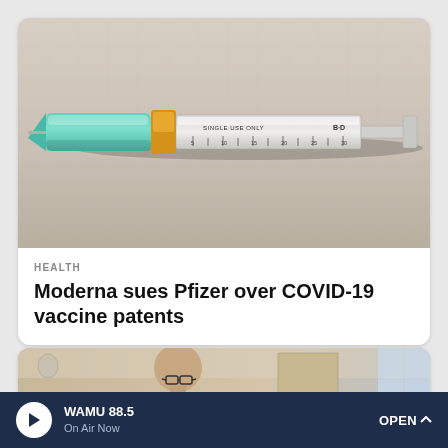[Figure (photo): Close-up photograph of a medical syringe with a teal/green needle cap lying on a light-colored surface. The syringe barrel shows measurement markings and text 'SINGLE USE ONLY' and 'B-D'.]
HEALTH
Moderna sues Pfizer over COVID-19 vaccine patents
[Figure (photo): Partial photo of a bald man wearing glasses in what appears to be an office or institutional setting.]
WAMU 88.5 On Air Now OPEN ^